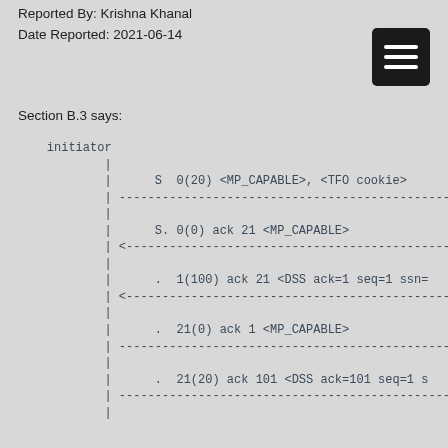Reported By: Krishna Khanal
Date Reported: 2021-06-14
[Figure (other): Hamburger menu icon (three white horizontal bars on black rounded rectangle background)]
Section B.3 says:
initiator
        |
        |      S  0(20) <MP_CAPABLE>, <TFO cookie>
        | -------------------------------------------------------
        |
        |      S. 0(0) ack 21 <MP_CAPABLE>
        | <------------------------------------------------------
        |
        |      .  1(100) ack 21 <DSS ack=1 seq=1 ssn=
        | <------------------------------------------------------
        |
        |      .  21(0) ack 1 <MP_CAPABLE>
        | -------------------------------------------------------
        |
        |      .  21(20) ack 101 <DSS ack=101 seq=1 s
        | -------------------------------------------------------
        |